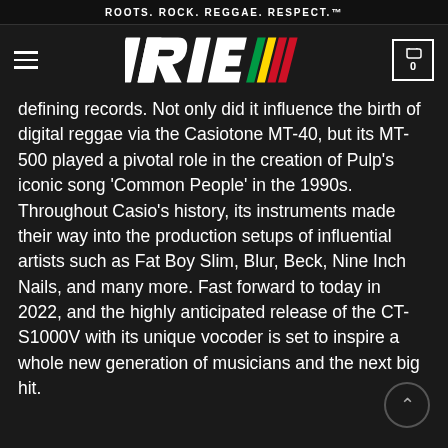ROOTS. ROCK. REGGAE. RESPECT.™
[Figure (logo): IRIE logo with italic white text and colored stripes (green, yellow, red)]
defining records. Not only did it influence the birth of digital reggae via the Casiotone MT-40, but its MT-500 played a pivotal role in the creation of Pulp's iconic song 'Common People' in the 1990s. Throughout Casio's history, its instruments made their way into the production setups of influential artists such as Fat Boy Slim, Blur, Beck, Nine Inch Nails, and many more. Fast forward to today in 2022, and the highly anticipated release of the CT-S1000V with its unique vocoder is set to inspire a whole new generation of musicians and the next big hit.